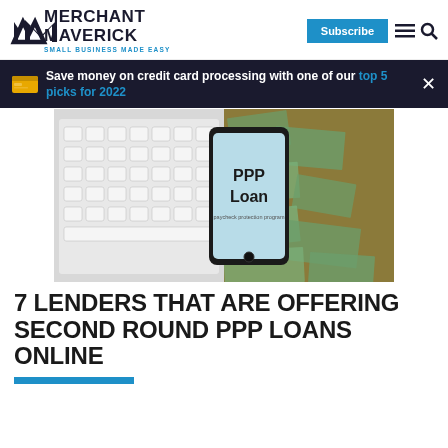Merchant Maverick — SMALL BUSINESS MADE EASY
Save money on credit card processing with one of our top 5 picks for 2022
[Figure (photo): Photo of a smartphone displaying 'PPP Loan' screen placed on a pile of US dollar bills next to a white keyboard]
7 LENDERS THAT ARE OFFERING SECOND ROUND PPP LOANS ONLINE